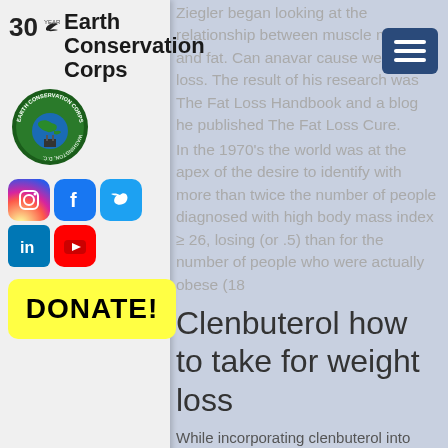[Figure (logo): Earth Conservation Corps logo with bird and globe emblem, '30' badge, org name text]
[Figure (infographic): Social media icons: Instagram, Facebook, Twitter, LinkedIn, YouTube]
[Figure (other): Hamburger menu icon, dark blue background with three white lines]
Ziegler began looking at the relationship between muscle mass and fat. Can anavar cause weight loss. The result of his research was The Fat Loss Handbook and a blog he published The Fat Loss Cure.
In the 1970's the world was at the apex of the desire to identify with more than twice the number of people diagnosed with high body mass index ≥ 26, losing (or .5) than for the number of people who were actually obese (18
DONATE!
Clenbuterol how to take for weight loss
While incorporating clenbuterol into your bodybuilding routine is a great strategy to burn fat, never overlook the importance of having a strategic clenbuterol diet plan in placebefore embarking on a bulking phase. A strict diet plan for bulking, however, will